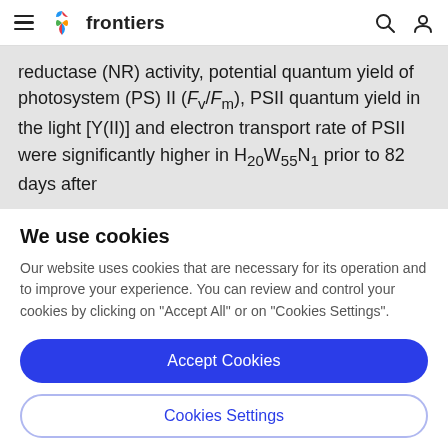frontiers
reductase (NR) activity, potential quantum yield of photosystem (PS) II (Fv/Fm), PSII quantum yield in the light [Y(II)] and electron transport rate of PSII were significantly higher in H20W55N1 prior to 82 days after
We use cookies
Our website uses cookies that are necessary for its operation and to improve your experience. You can review and control your cookies by clicking on "Accept All" or on "Cookies Settings".
Accept Cookies
Cookies Settings